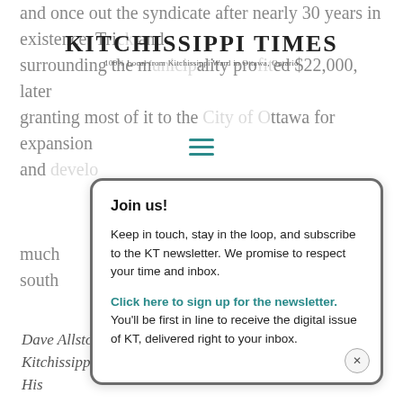and once out the syndicate after nearly 30 years in existence. Tri... and Surrounding the... $22,000, later granting most of it to the ... al Ottawa for expansion and... much ... nity south...
[Figure (logo): Kitchissippi Times logo with tagline '100% Local from Kitchissippi Ward in Ottawa, Ontario']
Who b... chose... water (or a... likely the a... uld have b... most desira... ita, Bonit...
Join us!

Keep in touch, stay in the loop, and subscribe to the KT newsletter. We promise to respect your time and inbox.

Click here to sign up for the newsletter. You'll be first in line to receive the digital issue of KT, delivered right to your inbox.
Dave Allston is a local historian and author of The Kitchissippi Museum (kitchissippimuseum.blogspot.ca). His